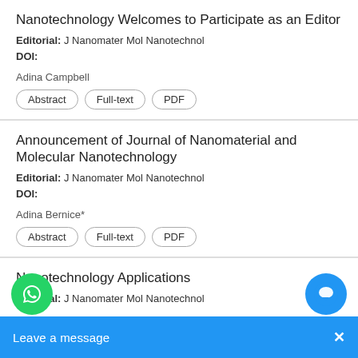Nanotechnology Welcomes to Participate as an Editor
Editorial: J Nanomater Mol Nanotechnol
DOI:
Adina Campbell
Announcement of Journal of Nanomaterial and Molecular Nanotechnology
Editorial: J Nanomater Mol Nanotechnol
DOI:
Adina Bernice*
Nanotechnology Applications
Editorial: J Nanomater Mol Nanotechnol
.ee
[Figure (screenshot): WhatsApp chat widget and 'Leave a message' overlay bar at the bottom of the screen]